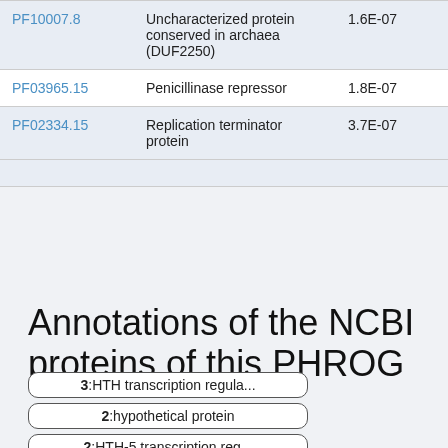| ID | Description | E-value | Range |
| --- | --- | --- | --- |
| PF10007.8 | Uncharacterized protein conserved in archaea (DUF2250) | 1.6E-07 | 23-73 / 6- |
| PF03965.15 | Penicillinase repressor | 1.8E-07 | 26-82 / 4- |
| PF02334.15 | Replication terminator protein | 3.7E-07 | 27-97 / 20 |
Annotations of the NCBI proteins of this PHROG
3:HTH transcription regula...
2:hypothetical protein
2:HTH-5 transcription reg...
1:transcriptional regulator